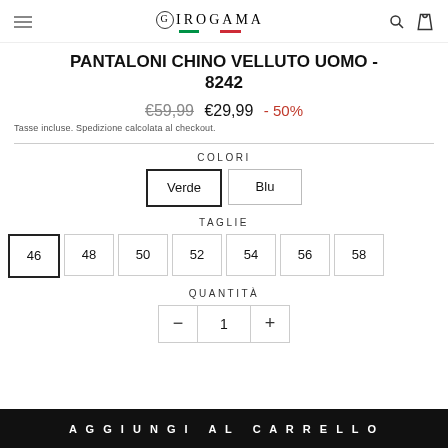GIROGAMA
PANTALONI CHINO VELLUTO UOMO - 8242
€59,99  €29,99  - 50%
Tasse incluse. Spedizione calcolata al checkout.
COLORI
Verde  Blu
TAGLIE
46  48  50  52  54  56  58
QUANTITÀ
- 1 +
AGGIUNGI AL CARRELLO